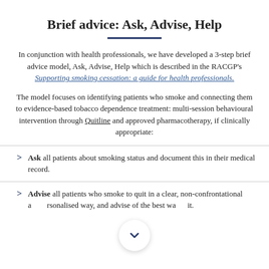Brief advice: Ask, Advise, Help
In conjunction with health professionals, we have developed a 3-step brief advice model, Ask, Advise, Help which is described in the RACGP's Supporting smoking cessation: a guide for health professionals.
The model focuses on identifying patients who smoke and connecting them to evidence-based tobacco dependence treatment: multi-session behavioural intervention through Quitline and approved pharmacotherapy, if clinically appropriate:
Ask all patients about smoking status and document this in their medical record.
Advise all patients who smoke to quit in a clear, non-confrontational and personalised way, and advise of the best way to quit.